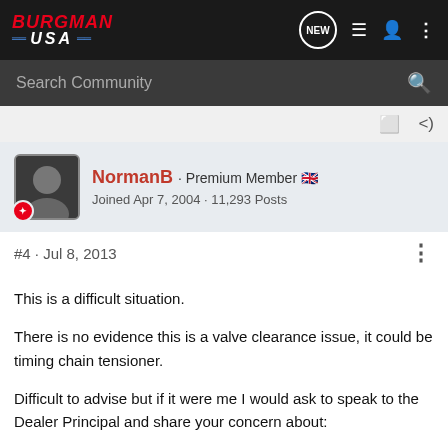BURGMAN USA — NEW, list, user, more icons; Search Community
NormanB · Premium Member 🇬🇧
Joined Apr 7, 2004 · 11,293 Posts
#4 · Jul 8, 2013
This is a difficult situation.
There is no evidence this is a valve clearance issue, it could be timing chain tensioner.
Difficult to advise but if it were me I would ask to speak to the Dealer Principal and share your concern about:
A. You are unhappy.
B. They
C. They
[Figure (photo): Suzuki GSX-S1000GT advertisement banner with motorcycle image]